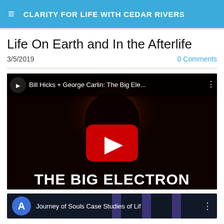CLARITY FOR LIFE WITH CEDAR RIVERS
Life On Earth and In the Afterlife
3/5/2019
0 Comments
[Figure (screenshot): YouTube video thumbnail for 'Bill Hicks + George Carlin: The Big Ele...' showing a solar eclipse image with a large red YouTube play button in the center and 'THE BIG ELECTRON' text at the bottom in white bold letters.]
[Figure (screenshot): Partially visible YouTube video thumbnail for 'Journey of Souls Case Studies of Lif...' with a blue circle icon with letter A on the left.]